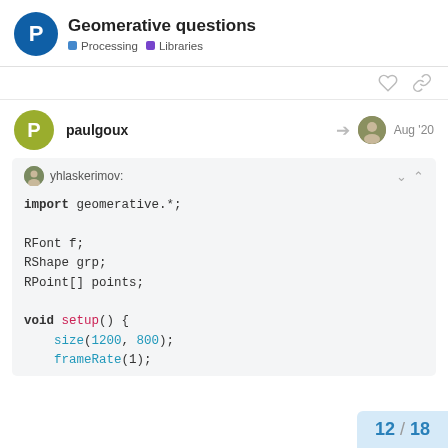Geomerative questions — Processing | Libraries
paulgoux — Aug '20
yhlaskerimov:
import geomerative.*;

RFont f;
RShape grp;
RPoint[] points;

void setup() {
    size(1200, 800);
    frameRate(1);
12 / 18